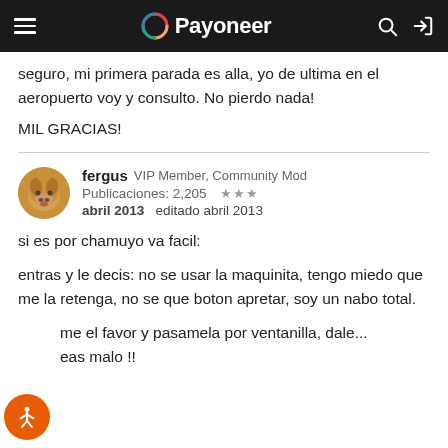Payoneer
seguro, mi primera parada es alla, yo de ultima en el aeropuerto voy y consulto. No pierdo nada!
MIL GRACIAS!
fergus  VIP Member, Community Mod
Publicaciones: 2,205  ★★★
abril 2013  editado abril 2013
si es por chamuyo va facil:
entras y le decis: no se usar la maquinita, tengo miedo que me la retenga, no se que boton apretar, soy un nabo total.
dame el favor y pasamela por ventanilla, dale... seas malo !!